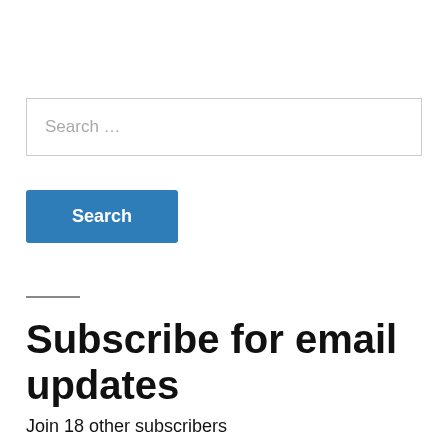Search …
Search
Subscribe for email updates
Join 18 other subscribers